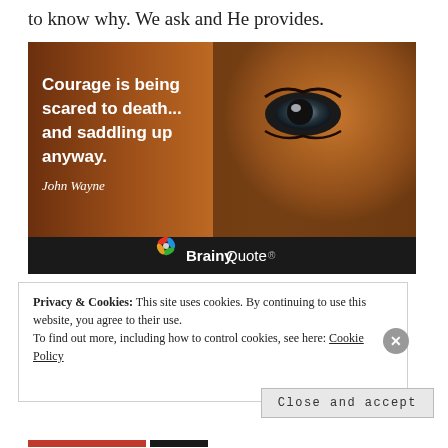to know why. We ask and He provides.
[Figure (photo): BrainyQuote image of a close-up horse eye on brown/orange background with white bold text overlay: 'Courage is being scared to death... and saddling up anyway.' attributed to John Wayne. BrainyQuote logo at bottom.]
Privacy & Cookies: This site uses cookies. By continuing to use this website, you agree to their use.
To find out more, including how to control cookies, see here: Cookie Policy
Close and accept